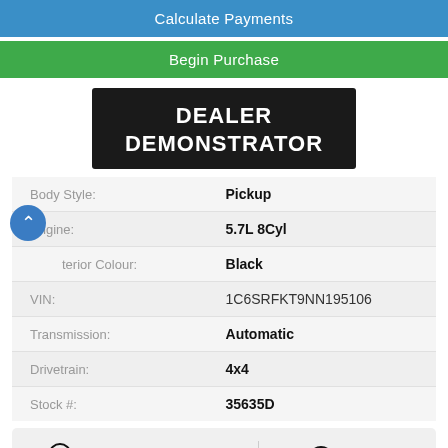Calculate Payments
Begin Purchase
[Figure (illustration): Black badge with white bold text reading DEALER DEMONSTRATOR]
| Body Style: | Pickup |
| Engine: | 5.7L 8Cyl |
| Exterior Colour: | Black |
| VIN: | 1C6SRFKT9NN195106 |
| Transmission: | Automatic |
| Drivetrain: | 4x4 |
| Stock #: | 35635D |
Live Video Chat   Text Us
Limited Longhorn HEMI 5.7L V8 VVT 8-Speed Automatic 4WD Body-Colour Bumper Group, Body-Colour Front Bumper, Body-Colour Rear Bumper w/Step Pads, GPS Navigation, Navigation System, Quick Order Package 25K